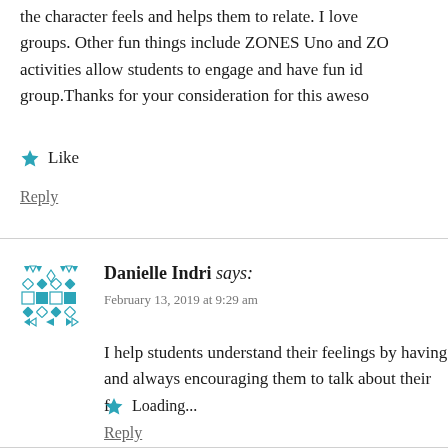the character feels and helps them to relate. I love groups. Other fun things include ZONES Uno and ZO activities allow students to engage and have fun id group.Thanks for your consideration for this aweso
Like
Reply
Danielle Indri says:
February 13, 2019 at 9:29 am
I help students understand their feelings by having and always encouraging them to talk about their fe
Loading...
Reply